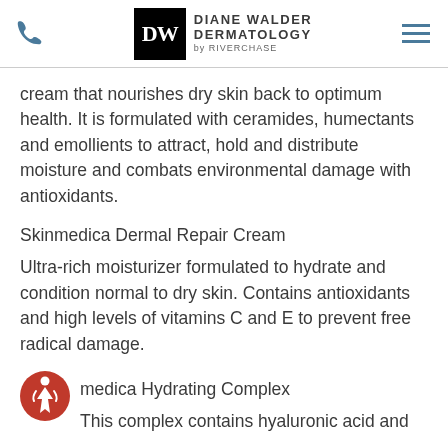Diane Walder Dermatology by Riverchase
cream that nourishes dry skin back to optimum health. It is formulated with ceramides, humectants and emollients to attract, hold and distribute moisture and combats environmental damage with antioxidants.
Skinmedica Dermal Repair Cream
Ultra-rich moisturizer formulated to hydrate and condition normal to dry skin. Contains antioxidants and high levels of vitamins C and E to prevent free radical damage.
medica Hydrating Complex
This complex contains hyaluronic acid and